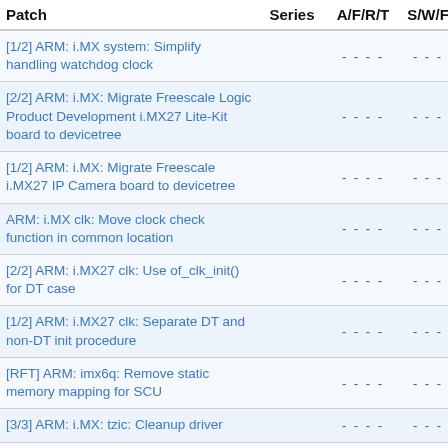| Patch | Series | A/F/R/T | S/W/F | ▲ |
| --- | --- | --- | --- | --- |
| [1/2] ARM: i.MX system: Simplify handling watchdog clock |  | - - - - | - - - | 20 |
| [2/2] ARM: i.MX: Migrate Freescale Logic Product Development i.MX27 Lite-Kit board to devicetree |  | - - - - | - - - | 20 |
| [1/2] ARM: i.MX: Migrate Freescale i.MX27 IP Camera board to devicetree |  | - - - - | - - - | 20 |
| ARM: i.MX clk: Move clock check function in common location |  | - - - - | - - - | 20 |
| [2/2] ARM: i.MX27 clk: Use of_clk_init() for DT case |  | - - - - | - - - | 20 |
| [1/2] ARM: i.MX27 clk: Separate DT and non-DT init procedure |  | - - - - | - - - | 20 |
| [RFT] ARM: imx6q: Remove static memory mapping for SCU |  | - - - - | - - - | 20 |
| [3/3] ARM: i.MX: tzic: Cleanup driver |  | - - - - | - - - | 20 |
| [3/3] ARM: i.MX: avic: Cleanup driver |  | - - - - | - - - | 20 |